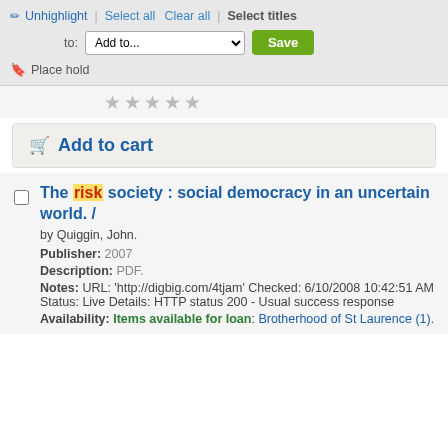✏ Unhighlight | Select all  Clear all | Select titles
to: Add to... Save
🔖 Place hold
[Figure (other): Five grey star rating icons]
🛒 Add to cart
The risk society : social democracy in an uncertain world. /
by Quiggin, John.
Publisher: 2007
Description: PDF.
Notes: URL: 'http://digbig.com/4tjam' Checked: 6/10/2008 10:42:51 AM Status: Live Details: HTTP status 200 - Usual success response
Availability: Items available for loan: Brotherhood of St Laurence (1).